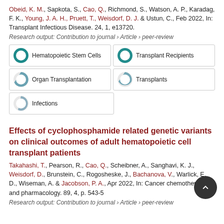Obeid, K. M., Sapkota, S., Cao, Q., Richmond, S., Watson, A. P., Karadag, F. K., Young, J. A. H., Pruett, T., Weisdorf, D. J. & Ustun, C., Feb 2022, In: Transplant Infectious Disease. 24, 1, e13720.
Research output: Contribution to journal › Article › peer-review
[Figure (infographic): Five keyword badges: Hematopoietic Stem Cells 100%, Transplant Recipients 100%, Organ Transplantation 75%, Transplants 70%, Infections 35%]
Effects of cyclophosphamide related genetic variants on clinical outcomes of adult hematopoietic cell transplant patients
Takahashi, T., Pearson, R., Cao, Q., Scheibner, A., Sanghavi, K. J., Weisdorf, D., Brunstein, C., Rogosheske, J., Bachanova, V., Warlick, E. D., Wiseman, A. & Jacobson, P. A., Apr 2022, In: Cancer chemotherapy and pharmacology. 89, 4, p. 543-5
Research output: Contribution to journal › Article › peer-review